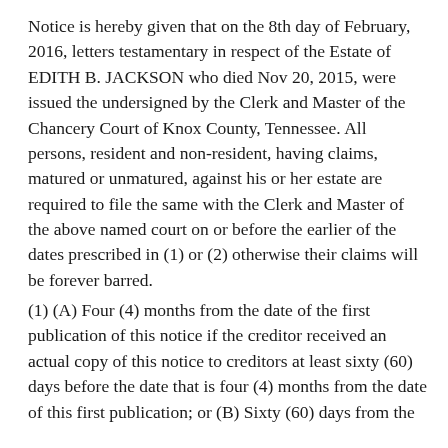Notice is hereby given that on the 8th day of February, 2016, letters testamentary in respect of the Estate of EDITH B. JACKSON who died Nov 20, 2015, were issued the undersigned by the Clerk and Master of the Chancery Court of Knox County, Tennessee. All persons, resident and non-resident, having claims, matured or unmatured, against his or her estate are required to file the same with the Clerk and Master of the above named court on or before the earlier of the dates prescribed in (1) or (2) otherwise their claims will be forever barred.
(1) (A) Four (4) months from the date of the first publication of this notice if the creditor received an actual copy of this notice to creditors at least sixty (60) days before the date that is four (4) months from the date of this first publication; or (B) Sixty (60) days from the